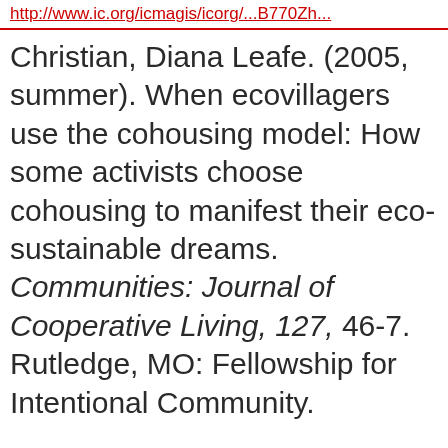http://www.ic.org/icmagis/icorg/...
Christian, Diana Leafe. (2005, summer). When ecovillagers use the cohousing model: How some activists choose cohousing to manifest their eco-sustainable dreams. Communities: Journal of Cooperative Living, 127, 46-7. Rutledge, MO: Fellowship for Intentional Community.
Christian, Diana Leafe. (2007).